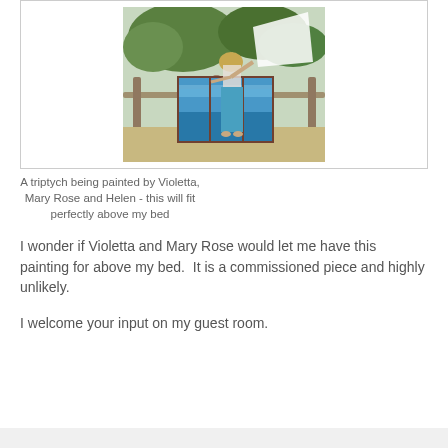[Figure (photo): A woman in a blue dress and sun hat holds up a large triptych painting of the ocean/sea, outdoors near wooden fence posts and green foliage]
A triptych being painted by Violetta, Mary Rose and Helen - this will fit perfectly above my bed
I wonder if Violetta and Mary Rose would let me have this painting for above my bed.  It is a commissioned piece and highly unlikely.
I welcome your input on my guest room.